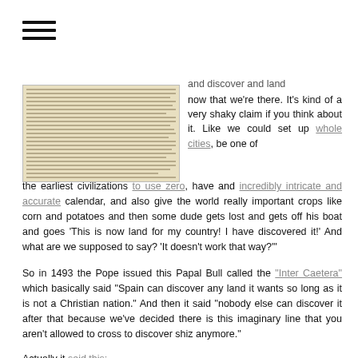[Figure (other): Hamburger menu icon (three horizontal lines)]
[Figure (photo): Image of an old handwritten or printed document, appearing to be a historical manuscript or Papal Bull, brownish/yellowed background with dense text]
and discover and land now that we're there. It's kind of a very shaky claim if you think about it. Like we could set up whole cities, be one of the earliest civilizations to use zero, have and incredibly intricate and accurate calendar, and also give the world really important crops like corn and potatoes and then some dude gets lost and gets off his boat and goes 'This is now land for my country! I have discovered it!' And what are we supposed to say? 'It doesn't work that way?'"
So in 1493 the Pope issued this Papal Bull called the "Inter Caetera" which basically said "Spain can discover any land it wants so long as it is not a Christian nation." And then it said "nobody else can discover it after that because we've decided there is this imaginary line that you aren't allowed to cross to discover shiz anymore."
Actually it said this: